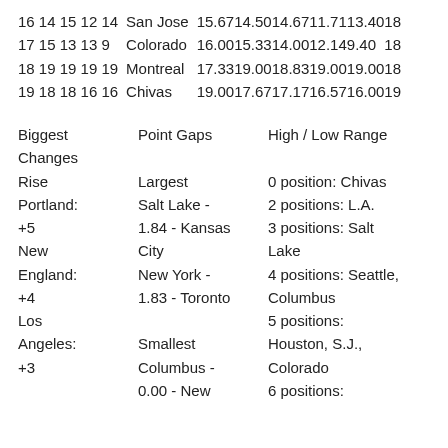| 16 14 15 12 14 | San Jose | 15.6714.5014.6711.7113.4018 |
| 17 15 13 13 9 | Colorado | 16.0015.3314.0012.149.40 18 |
| 18 19 19 19 19 | Montreal | 17.3319.0018.8319.0019.0018 |
| 19 18 18 16 16 | Chivas | 19.0017.6717.1716.5716.0019 |
Biggest Changes   Point Gaps   High / Low Range
Rise   Largest   0 position: Chivas
Portland: +5   Salt Lake - 1.84 - Kansas City   2 positions: L.A.
   3 positions: Salt Lake
New England: +4   New York - 1.83 - Toronto   4 positions: Seattle, Columbus
Los Angeles: +3   Smallest Columbus - 0.00 - New   5 positions: Houston, S.J., Colorado
   6 positions: